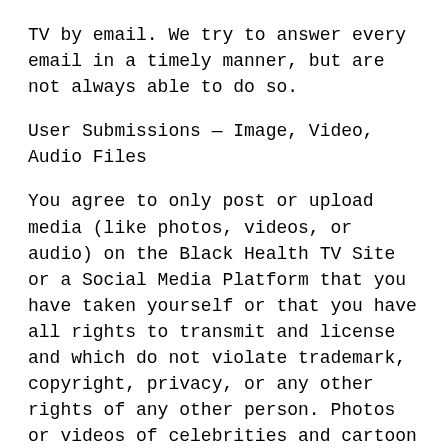TV by email. We try to answer every email in a timely manner, but are not always able to do so.
User Submissions — Image, Video, Audio Files
You agree to only post or upload media (like photos, videos, or audio) on the Black Health TV Site or a Social Media Platform that you have taken yourself or that you have all rights to transmit and license and which do not violate trademark, copyright, privacy, or any other rights of any other person. Photos or videos of celebrities and cartoon or comic images are usually copyrighted by the owner.
To protect your privacy, you agree that you will not submit any media that contains Personally